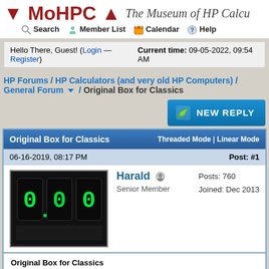MoHPC ↓↑ The Museum of HP Calculators
Search | Member List | Calendar | Help
Hello There, Guest! (Login — Register)  Current time: 09-05-2022, 09:54 AM
HP Forums / HP Calculators (and very old HP Computers) / General Forum / Original Box for Classics
Original Box for Classics
Threaded Mode | Linear Mode
06-16-2019, 08:17 PM   Post: #1
[Figure (photo): User avatar: green nixie tube display showing digits on dark background]
Harald  Senior Member  Posts: 760  Joined: Dec 2013
Original Box for Classics
I remember a thread where someone asked about what kind of box the classics came in. I can't remember if pictures were posted or not and I can't find the thread anymore. But at least for the HP 35 I can show pictures soon. Here is what I found: